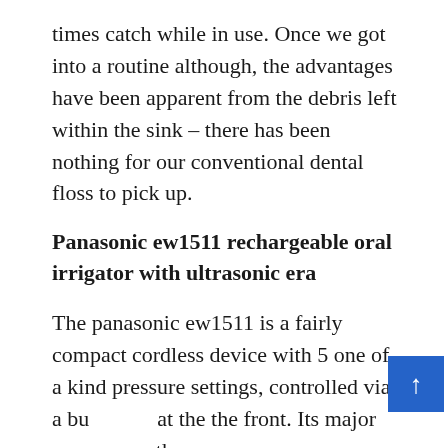times catch while in use. Once we got into a routine although, the advantages have been apparent from the debris left within the sink – there has been nothing for our conventional dental floss to pick up.
Panasonic ew1511 rechargeable oral irrigator with ultrasonic era
The panasonic ew1511 is a fairly compact cordless device with 5 one of a kind pressure settings, controlled via a bu at the the front. Its major coup over other